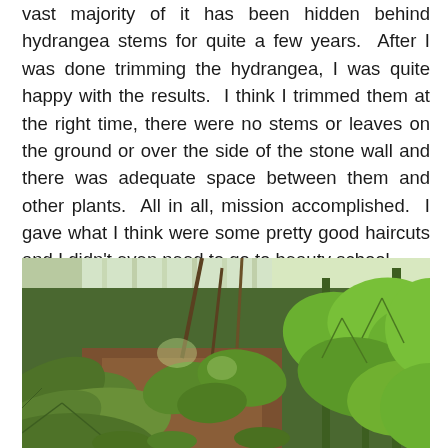vast majority of it has been hidden behind hydrangea stems for quite a few years.  After I was done trimming the hydrangea, I was quite happy with the results.  I think I trimmed them at the right time, there were no stems or leaves on the ground or over the side of the stone wall and there was adequate space between them and other plants.  All in all, mission accomplished.  I gave what I think were some pretty good haircuts and I didn't even need to go to beauty school.
[Figure (photo): Garden scene showing large green leafy plants (hostas and other broad-leaf plants) in a shaded garden bed with brown soil, wooden fence or trellis visible in the background, sunlight filtering through.]